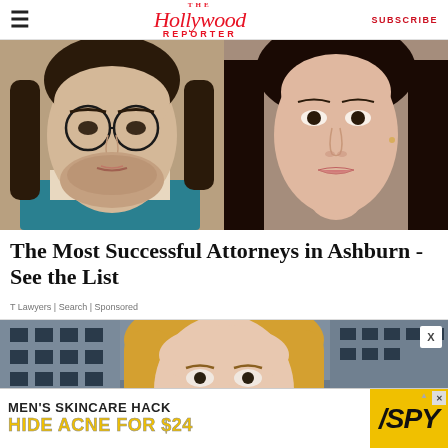The Hollywood Reporter | SUBSCRIBE
[Figure (photo): Two close-up face photos side by side: left shows a man with round glasses and beard, right shows a woman with dark hair]
The Most Successful Attorneys in Ashburn - See the List
T Lawyers | Search | Sponsored
[Figure (photo): Blonde woman in front of urban building background]
[Figure (infographic): MEN'S SKINCARE HACK HIDE ACNE FOR $24 - SPY advertisement banner]